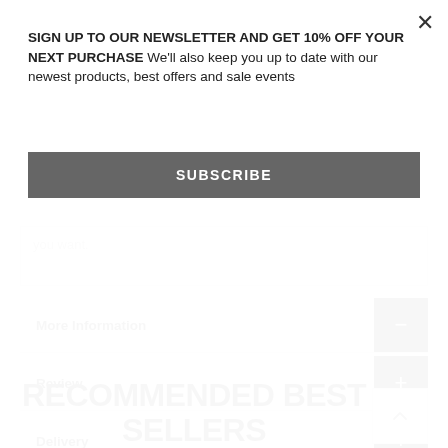SIGN UP TO OUR NEWSLETTER AND GET 10% OFF YOUR NEXT PURCHASE We'll also keep you up to date with our newest products, best offers and sale events
SUBSCRIBE
you want.
More Information
Review
Delivery
RECOMMENDED BEST SELLERS